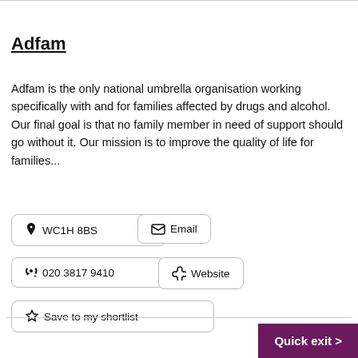Adfam
Adfam is the only national umbrella organisation working specifically with and for families affected by drugs and alcohol. Our final goal is that no family member in need of support should go without it. Our mission is to improve the quality of life for families...
WC1H 8BS
Email
020 3817 9410
Website
Save to my shortlist
Quick exit >